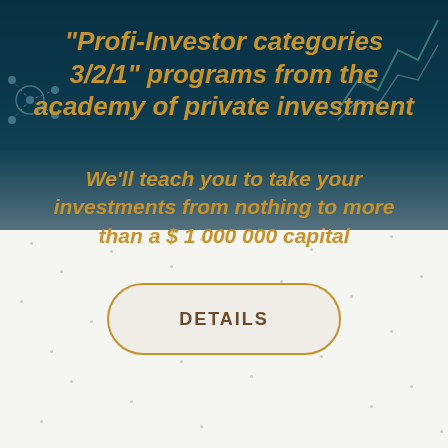"Profi-Investor categories 3/2/1" programs from the academy of private investment
We'll teach you to take your investments from nothing to more than a $ 1 000 000 capital
[Figure (other): A pill-shaped button with gold border and light beige background labeled DETAILS in brown bold uppercase letters]